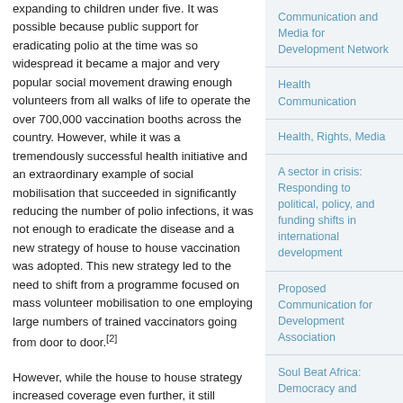expanding to children under five. It was possible because public support for eradicating polio at the time was so widespread it became a major and very popular social movement drawing enough volunteers from all walks of life to operate the over 700,000 vaccination booths across the country. However, while it was a tremendously successful health initiative and an extraordinary example of social mobilisation that succeeded in significantly reducing the number of polio infections, it was not enough to eradicate the disease and a new strategy of house to house vaccination was adopted. This new strategy led to the need to shift from a programme focused on mass volunteer mobilisation to one employing large numbers of trained vaccinators going from door to door.[2]
However, while the house to house strategy increased coverage even further, it still missed too many children. Vaccination teams...
Communication and Media for Development Network
Health Communication
Health, Rights, Media
A sector in crisis: Responding to political, policy, and funding shifts in international development
Proposed Communication for Development Association
Soul Beat Africa: Democracy and